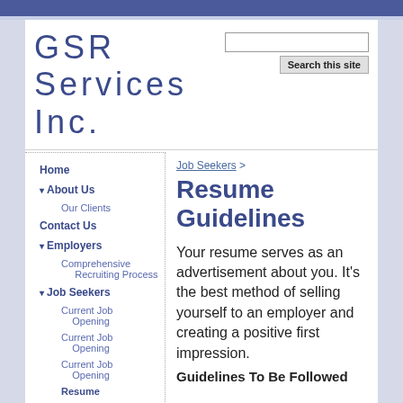GSR Services Inc.
Search this site
Home
▾ About Us
Our Clients
Contact Us
▾ Employers
Comprehensive Recruiting Process
▾ Job Seekers
Current Job Opening
Current Job Opening
Current Job Opening
Resume
Job Seekers >
Resume Guidelines
Your resume serves as an advertisement about you. It's the best method of selling yourself to an employer and creating a positive first impression.
Guidelines To Be Followed